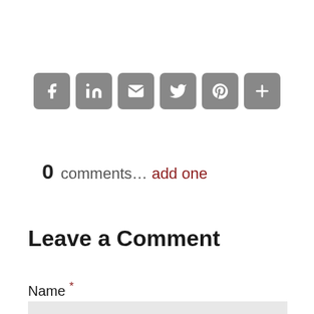[Figure (infographic): Row of 6 social share icon buttons: Facebook (f), LinkedIn (in), Email (envelope), Twitter (bird), Pinterest (p), More (+). All gray rounded square buttons with white icons.]
0 comments... add one
Leave a Comment
Name *